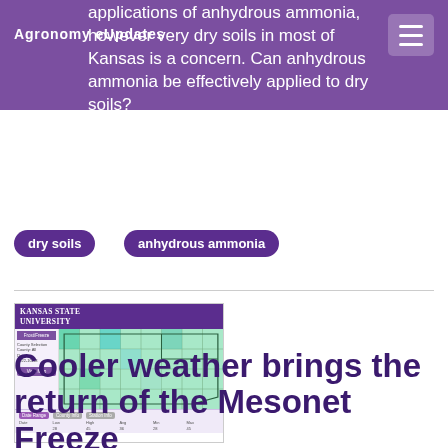Agronomy eUpdates
applications of anhydrous ammonia, however very dry soils in most of Kansas is a concern. Can anhydrous ammonia be effectively applied to dry soils?
dry soils
anhydrous ammonia
[Figure (screenshot): Kansas State University website screenshot showing a map of Kansas with colored county data overlay, likely showing soil moisture or freeze data from the KSU Mesonet tool.]
Cooler weather brings the return of the Mesonet Freeze